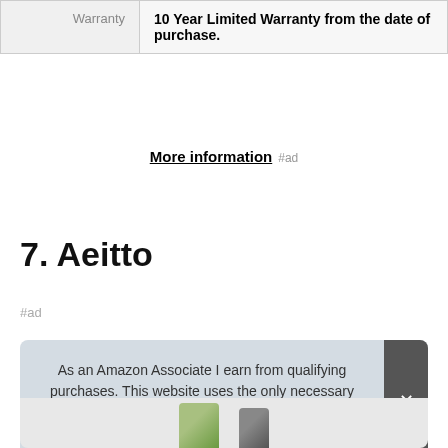|  |  |
| --- | --- |
| Warranty | 10 Year Limited Warranty from the date of purchase. |
More information #ad
7. Aeitto
#ad
As an Amazon Associate I earn from qualifying purchases. This website uses the only necessary cookies to ensure you get the best experience on our website. More information